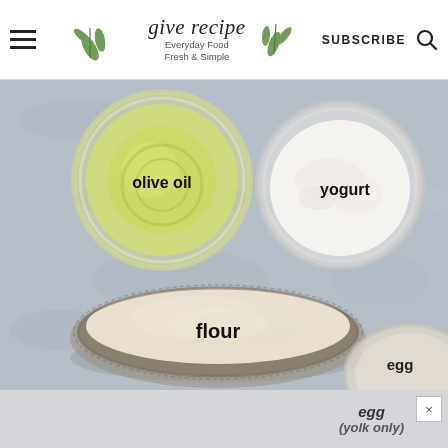give recipe — Everyday Food Fresh & Simple — SUBSCRIBE
[Figure (photo): Overhead flat-lay photo of recipe ingredients on a grey stone surface: a glass bowl of olive oil (labeled 'olive oil'), a glass bowl of yogurt (labeled 'yogurt'), a large tart-pan bowl filled with flour (labeled 'flour'), and a partially visible bowl of egg yolk (labeled 'egg (yolk only)') in the bottom-right corner. A close button (×) appears in the lower right.]